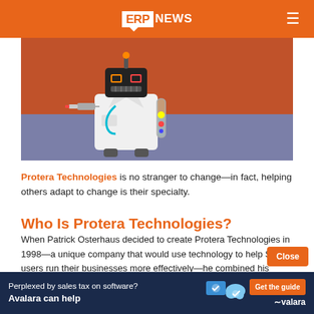ERP NEWS
[Figure (photo): A toy robot dressed as a doctor in a white lab coat with a stethoscope, holding a syringe and a test tube, against an orange and blue-grey background.]
Protera Technologies is no stranger to change—in fact, helping others adapt to change is their specialty.
Who Is Protera Technologies?
When Patrick Osterhaus decided to create Protera Technologies in 1998—a unique company that would use technology to help SAP users run their businesses more effectively—he combined his knowledge and passion to create a different kind of SAP partner with an intentional change
[Figure (infographic): Avalara advertisement banner at the bottom: 'Perplexed by sales tax on software? Avalara can help' with tech icons and a 'Get the guide' button.]